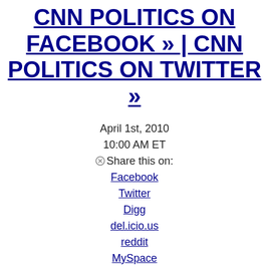CNN POLITICS ON FACEBOOK » | CNN POLITICS ON TWITTER »
April 1st, 2010
10:00 AM ET
⊗Share this on:
Facebook
Twitter
Digg
del.icio.us
reddit
MySpace
StumbleUpon
Palin tells RNC to remove her name from fundraising invite